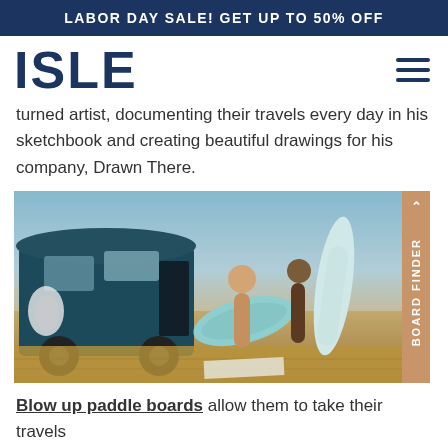LABOR DAY SALE! GET UP TO 50% OFF
ISLE
turned artist, documenting their travels every day in his sketchbook and creating beautiful drawings for his company, Drawn There.
[Figure (photo): Two people carrying paddleboards near a van on a sandy landscape. A 'BOARD FINDER' tab is visible on the right side of the image.]
Blow up paddle boards allow them to take their travels